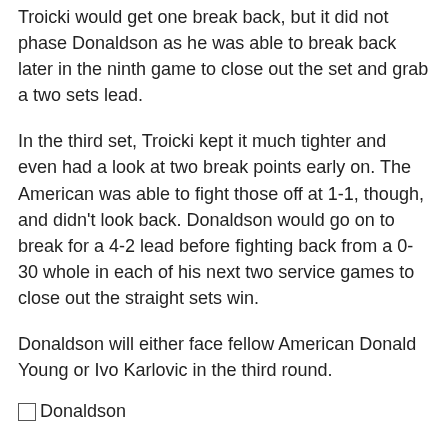Troicki would get one break back, but it did not phase Donaldson as he was able to break back later in the ninth game to close out the set and grab a two sets lead.
In the third set, Troicki kept it much tighter and even had a look at two break points early on. The American was able to fight those off at 1-1, though, and didn't look back. Donaldson would go on to break for a 4-2 lead before fighting back from a 0-30 whole in each of his next two service games to close out the straight sets win.
Donaldson will either face fellow American Donald Young or Ivo Karlovic in the third round.
[Figure (photo): Broken image placeholder labeled 'Donaldson']